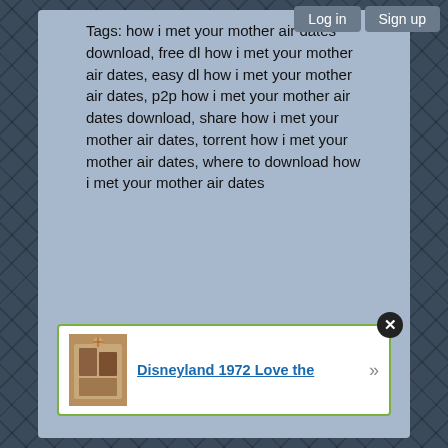Log in  Sign up
Tags: how i met your mother air dates download, free dl how i met your mother air dates, easy dl how i met your mother air dates, p2p how i met your mother air dates download, share how i met your mother air dates, torrent how i met your mother air dates, where to download how i met your mother air dates
[Figure (other): Advertisement widget with image thumbnail and link text 'Disneyland 1972 Love the' with green border and close button]